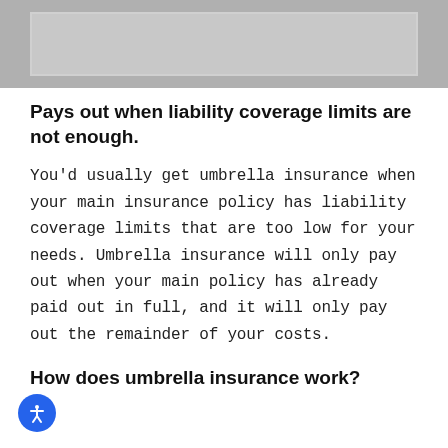[Figure (photo): Gray image placeholder with lighter inner rectangle border, partially visible at top of page]
Pays out when liability coverage limits are not enough.
You'd usually get umbrella insurance when your main insurance policy has liability coverage limits that are too low for your needs. Umbrella insurance will only pay out when your main policy has already paid out in full, and it will only pay out the remainder of your costs.
How does umbrella insurance work?